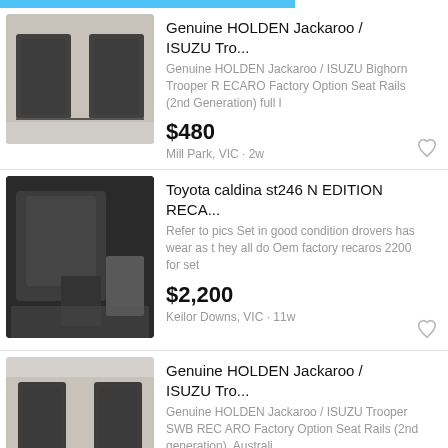[Figure (photo): Teal/blue banner bar at top]
Genuine HOLDEN Jackaroo / ISUZU Tro...
Genuine HOLDEN Jackaroo / ISUZU Bighorn Trooper R ECARO Factory Option Seat Rails (2nd Generation) full l
$480
Mill Park, VIC · 2w
Toyota caldina st246 N EDITION RECA...
Refer to pics Set in good condition drovers has wear as they all do Oem factory recaros 2200 for set
$2,200
Keilor Downs, VIC · 11w
Genuine HOLDEN Jackaroo / ISUZU Tro...
Genuine HOLDEN Jackaroo / ISUZU Trooper SWB REC ARO Factory Option Seat Rails (2nd generation). Australi
$480
Mill Park, VIC · 2w
Genuine RECARO LS Mesh Seats (Avu...
Genuine RECARO LS Mesh Seats (Avus Pair) – Classic Pattern. AUS wide standard freight included with tracking